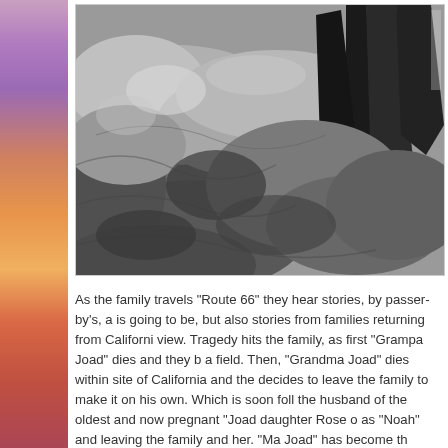[Figure (photo): Black and white photograph showing close-up of rough, wrinkled fabric or earth textures with dark angular shapes, possibly hands or rock formations with tools]
As the family travels "Route 66" they hear stories, by passer-by's, a is going to be, but also stories from families returning from Californi view. Tragedy hits the family, as first "Grampa Joad" dies and they b a field. Then, "Grandma Joad" dies within site of California and the decides to leave the family to make it on his own. Which is soon foll the husband of the oldest and now pregnant "Joad daughter Rose o as "Noah" and leaving the family and her. "Ma Joad" has become th cross the Arizona State Line into California.